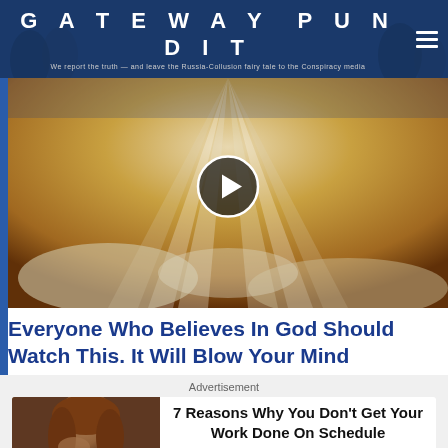GATEWAY PUNDIT — We report the truth — and leave the Russia-Collusion fairy tale to the Conspiracy media
[Figure (photo): Video thumbnail showing dramatic sky with rays of light shining through clouds, golden/orange hues, with a circular play button overlay in the center]
Everyone Who Believes In God Should Watch This. It Will Blow Your Mind
Advertisement
[Figure (photo): Woman with reddish hair holding her hand to her face, looking stressed or thoughtful]
7 Reasons Why You Don't Get Your Work Done On Schedule
Brainberries